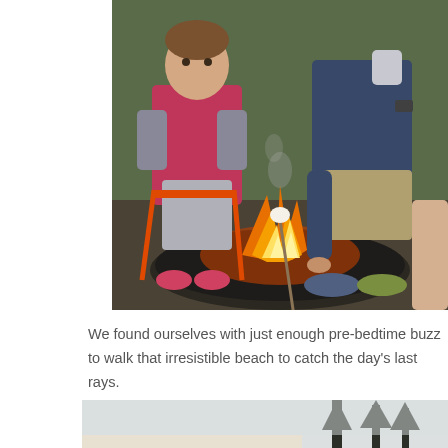[Figure (photo): A young girl in a pink vest and grey hoodie sits in an orange camping chair by a fire pit. An adult man sits beside her in camp chairs. They are roasting marshmallows over a fire in a round metal fire pit. Outdoor campsite setting with trees in background.]
We found ourselves with just enough pre-bedtime buzz to walk that irresistible beach to catch the day's last rays.
[Figure (photo): Partial view of a beach or outdoor scene with pale sky and silhouettes of tall trees on the right side.]